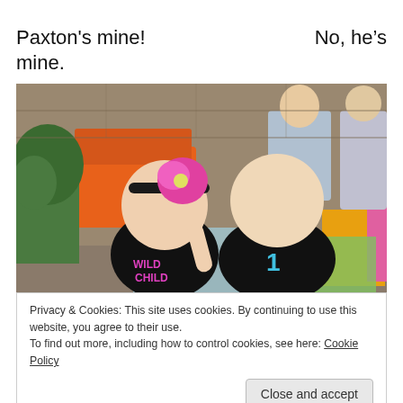Paxton's mine!   No, he's mine.
[Figure (photo): Two babies facing each other and touching hands. The baby on the left wears a pink flower headband and a black 'Wild Child' shirt. The baby on the right wears a black shirt with a blue '1'. They are at an outdoor party setting with orange cushions and gift bags in the background.]
Privacy & Cookies: This site uses cookies. By continuing to use this website, you agree to their use.
To find out more, including how to control cookies, see here: Cookie Policy
Close and accept